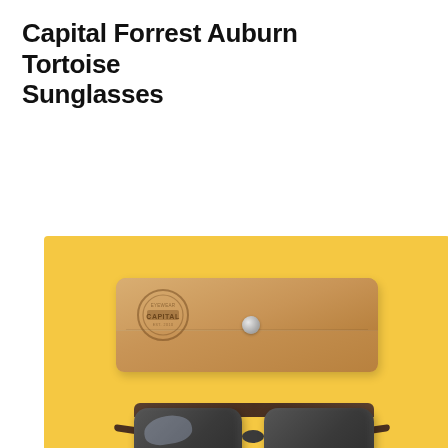Capital Forrest Auburn Tortoise Sunglasses
[Figure (photo): Product photo on a yellow/golden background showing a tan leather eyeglass case with a 'CAPITAL' branded stamp and silver snap button closure, and a pair of dark tortoise wayfarer-style sunglasses placed below the case.]